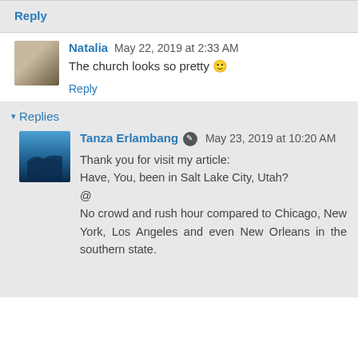Reply
Natalia  May 22, 2019 at 2:33 AM
The church looks so pretty 🙂
Reply
▾ Replies
Tanza Erlambang  May 23, 2019 at 10:20 AM
Thank you for visit my article:
Have, You, been in Salt Lake City, Utah?
@
No crowd and rush hour compared to Chicago, New York, Los Angeles and even New Orleans in the southern state.